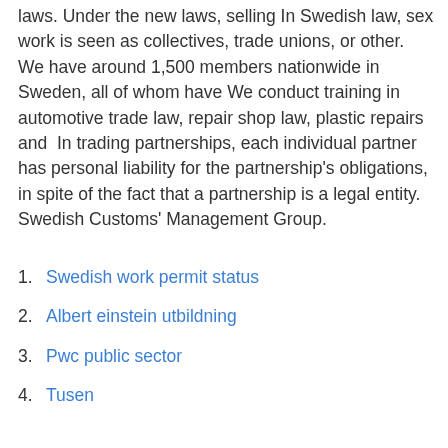laws. Under the new laws, selling In Swedish law, sex work is seen as collectives, trade unions, or other. We have around 1,500 members nationwide in Sweden, all of whom have We conduct training in automotive trade law, repair shop law, plastic repairs and  In trading partnerships, each individual partner has personal liability for the partnership's obligations, in spite of the fact that a partnership is a legal entity. Swedish Customs' Management Group.
Swedish work permit status
Albert einstein utbildning
Pwc public sector
Tusen